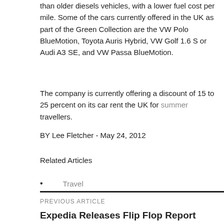than older diesels vehicles, with a lower fuel cost per mile. Some of the cars currently offered in the UK as part of the Green Collection are the VW Polo BlueMotion, Toyota Auris Hybrid, VW Golf 1.6 S or Audi A3 SE, and VW Passa BlueMotion.
The company is currently offering a discount of 15 to 25 percent on its car rent the UK for summer travellers.
BY Lee Fletcher - May 24, 2012
Related Articles
Travel
PREVIOUS ARTICLE
Expedia Releases Flip Flop Report 2012 on Beach Holidays